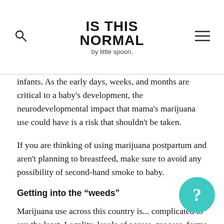IS THIS NORMAL by little spoon
infants. As the early days, weeks, and months are critical to a baby's development, the neurodevelopmental impact that mama's marijuana use could have is a risk that shouldn't be taken.
If you are thinking of using marijuana postpartum and aren't planning to breastfeed, make sure to avoid any possibility of second-hand smoke to baby.
Getting into the “weeds”
Marijuana use across this country is... complicated to say the least. Legality, levels of access, process, forms of